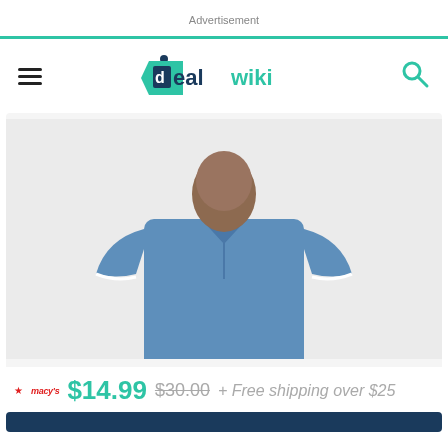Advertisement
[Figure (logo): DealWiki logo with teal price-tag icon and teal/dark text]
[Figure (photo): Man wearing a blue polo shirt with white trim on the sleeves, against a light grey background]
$14.99  $30.00  + Free shipping over $25